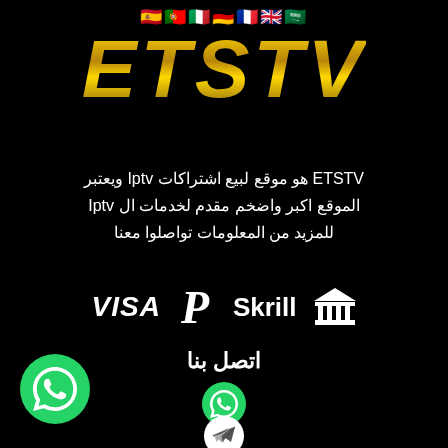[Figure (logo): ETSTV logo with country flags above it on black background, gold metallic italic lettering]
ETSTV هو موقع لبيع اشتراكات Iptv ويعتبر الموقع اكبر واضخم مقدم لخدمات ال Iptv للمزيد من المعلومات تواصلوا معنا
[Figure (infographic): Payment method logos: VISA, PayPal P, Skrill, Bank icon]
اتصل بنا
[Figure (illustration): WhatsApp icon (center)]
[Figure (illustration): Telegram icon (center bottom)]
[Figure (illustration): WhatsApp icon (bottom left)]